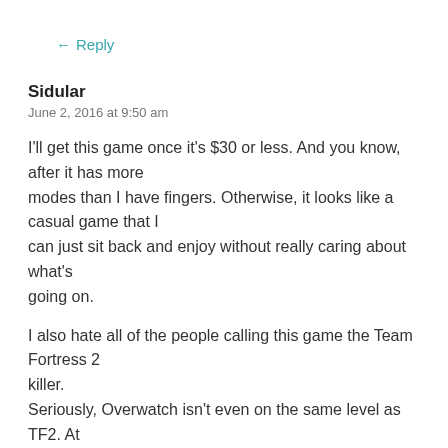← Reply
Sidular
June 2, 2016 at 9:50 am
I'll get this game once it's $30 or less. And you know, after it has more modes than I have fingers. Otherwise, it looks like a casual game that I can just sit back and enjoy without really caring about what's going on.

I also hate all of the people calling this game the Team Fortress 2 killer. Seriously, Overwatch isn't even on the same level as TF2. At least not yet. It has the potential to become something truly great, but as of right now, there's no competition between the two. Team Fortress 2 has more content, and it's free. Overwatch will really have to pump out new quality